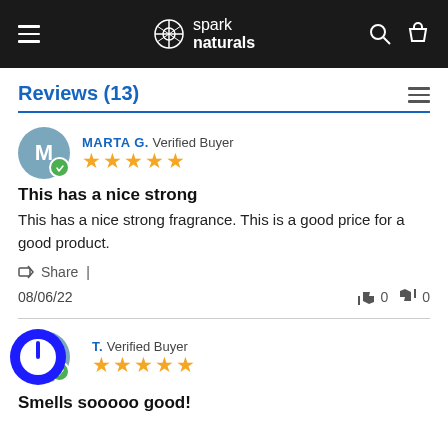spark naturals — navigation bar
Reviews (13)
MARTA G. Verified Buyer ★★★★★
This has a nice strong
This has a nice strong fragrance. This is a good price for a good product.
Share | 08/06/22   👍 0  👎 0
T. Verified Buyer ★★★★★
Smells sooooo good!